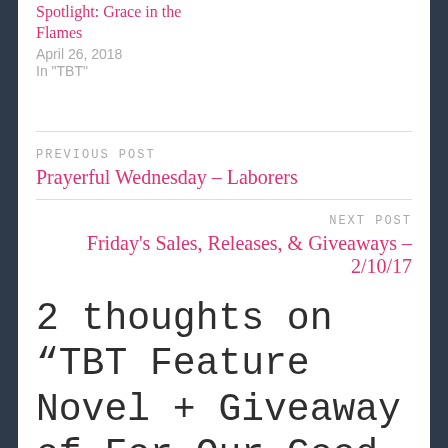Spotlight: Grace in the Flames
April 26, 2018
In "TBT"
PREVIOUS POST
Prayerful Wednesday – Laborers
NEXT POST
Friday's Sales, Releases, & Giveaways – 2/10/17
2 thoughts on “TBT Feature Novel + Giveaway of For Our Good by Paula Mowery”